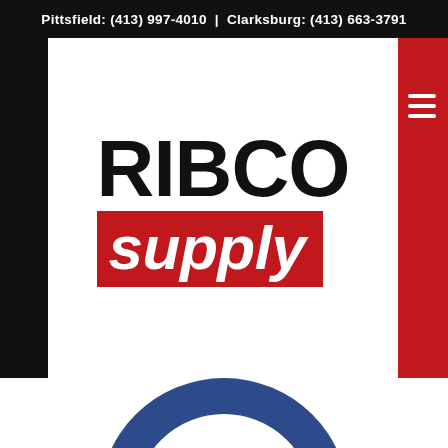Pittsfield: (413) 997-4010 | Clarksburg: (413) 663-3791
[Figure (logo): RIBCO Supply company logo with 'RIBCO' in bold black text and 'supply' in white italic text on a red background rectangle]
[Figure (logo): Partial blue circular logo with white 'M' or architectural/column shapes visible, cropped at bottom of page]